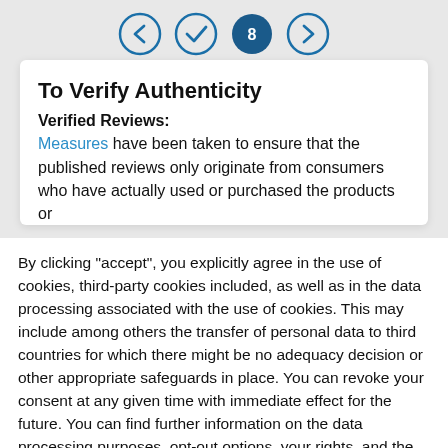[Figure (other): Navigation pagination buttons: back arrow, check/tick, highlighted '8' circle (active/dark blue), forward arrow — circular icon buttons in a row]
To Verify Authenticity
Verified Reviews:
Measures have been taken to ensure that the published reviews only originate from consumers who have actually used or purchased the products or
By clicking "accept", you explicitly agree in the use of cookies, third-party cookies included, as well as in the data processing associated with the use of cookies. This may include among others the transfer of personal data to third countries for which there might be no adequacy decision or other appropriate safeguards in place. You can revoke your consent at any given time with immediate effect for the future. You can find further information on the data processing purposes, opt-out options, your rights, and the risks of data transfers to third countries here.
ACCEPT